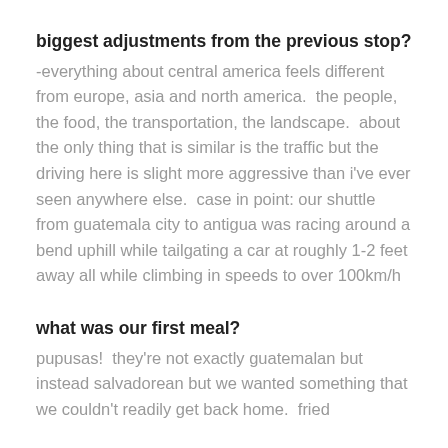biggest adjustments from the previous stop?
-everything about central america feels different from europe, asia and north america.  the people, the food, the transportation, the landscape.  about the only thing that is similar is the traffic but the driving here is slight more aggressive than i've ever seen anywhere else.  case in point: our shuttle from guatemala city to antigua was racing around a bend uphill while tailgating a car at roughly 1-2 feet away all while climbing in speeds to over 100km/h
what was our first meal?
pupusas!  they're not exactly guatemalan but instead salvadorean but we wanted something that we couldn't readily get back home.  fried